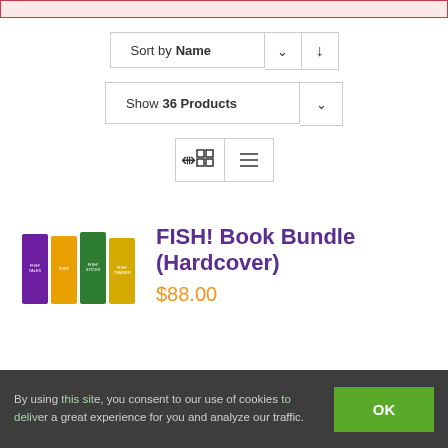[Figure (screenshot): Top pink/red banner strip (partially visible)]
Sort by Name
Show 36 Products
[Figure (infographic): Grid and list view toggle buttons]
[Figure (photo): FISH! Book Bundle product image showing multiple colorful book covers]
FISH! Book Bundle (Hardcover)
$88.00
By using this site, you consent to our use of cookies to deliver a great experience for you and analyze our traffic.